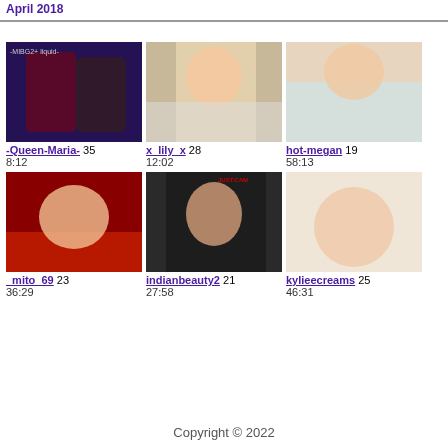April 2018
[Figure (photo): Thumbnail image of -Queen-Maria-]
-Queen-Maria- 35
8:12
[Figure (photo): Thumbnail image of x_lily_x]
x_lily_x 28
12:02
[Figure (photo): Thumbnail image of hot-megan]
hot-megan 19
58:13
[Figure (photo): Thumbnail image of _mito_69]
_mito_69 23
36:29
[Figure (photo): Thumbnail image of indianbeauty2]
indianbeauty2 21
27:58
[Figure (photo): Thumbnail image of kylieecreams]
kylieecreams 25
46:31
Copyright © 2022